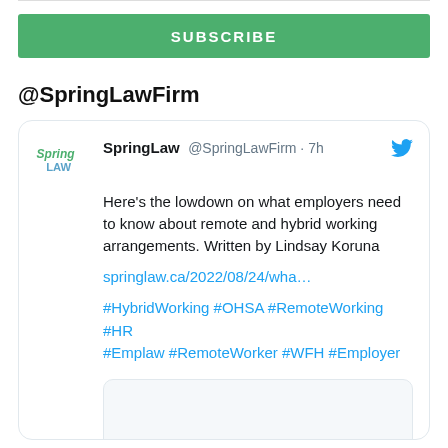[Figure (other): Green SUBSCRIBE button banner]
@SpringLawFirm
[Figure (screenshot): Tweet from SpringLaw @SpringLawFirm · 7h: Here's the lowdown on what employers need to know about remote and hybrid working arrangements. Written by Lindsay Koruna. Link: springlaw.ca/2022/08/24/wha... Hashtags: #HybridWorking #OHSA #RemoteWorking #HR #Emplaw #RemoteWorker #WFH #Employer]